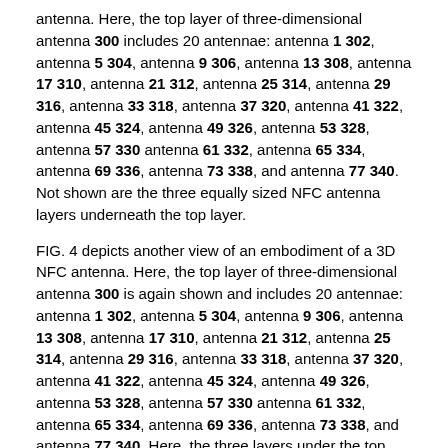antenna. Here, the top layer of three-dimensional antenna 300 includes 20 antennae: antenna 1 302, antenna 5 304, antenna 9 306, antenna 13 308, antenna 17 310, antenna 21 312, antenna 25 314, antenna 29 316, antenna 33 318, antenna 37 320, antenna 41 322, antenna 45 324, antenna 49 326, antenna 53 328, antenna 57 330 antenna 61 332, antenna 65 334, antenna 69 336, antenna 73 338, and antenna 77 340. Not shown are the three equally sized NFC antenna layers underneath the top layer.
FIG. 4 depicts another view of an embodiment of a 3D NFC antenna. Here, the top layer of three-dimensional antenna 300 is again shown and includes 20 antennae: antenna 1 302, antenna 5 304, antenna 9 306, antenna 13 308, antenna 17 310, antenna 21 312, antenna 25 314, antenna 29 316, antenna 33 318, antenna 37 320, antenna 41 322, antenna 45 324, antenna 49 326, antenna 53 328, antenna 57 330 antenna 61 332, antenna 65 334, antenna 69 336, antenna 73 338, and antenna 77 340. Here, the three layers under the top layer are shown as dotted lines, indicating their offset position under the top layer.
FIG. 5 is an illustrative flow of executing an application